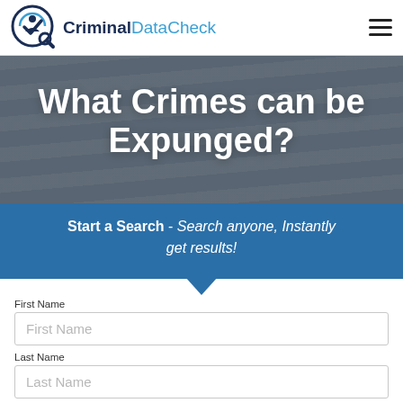CriminalDataCheck
What Crimes can be Expunged?
Start a Search - Search anyone, Instantly get results!
First Name
Last Name
State